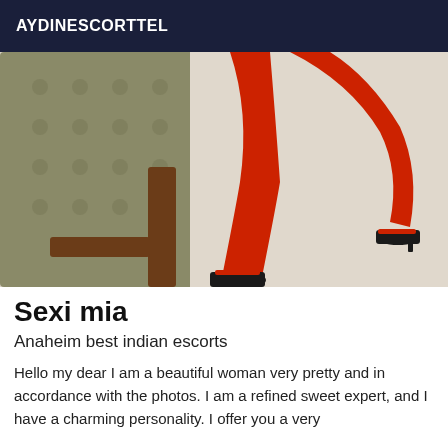AYDINESCORTTEL
[Figure (photo): A person wearing red tights and black high heels, seated on an olive/khaki tufted leather armchair with dark wood frame, against a light background. Only the legs are visible.]
Sexi mia
Anaheim best indian escorts
Hello my dear I am a beautiful woman very pretty and in accordance with the photos. I am a refined sweet expert, and I have a charming personality. I offer you a very